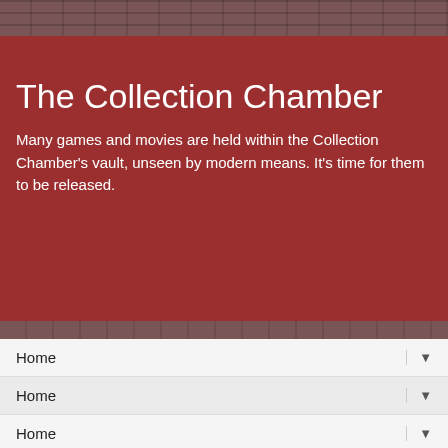The Collection Chamber
Many games and movies are held within the Collection Chamber's vault, unseen by modern means. It's time for them to be released.
Home
Home
Home
Home
SATURDAY, 6 MAY 2017
TEMUJIN